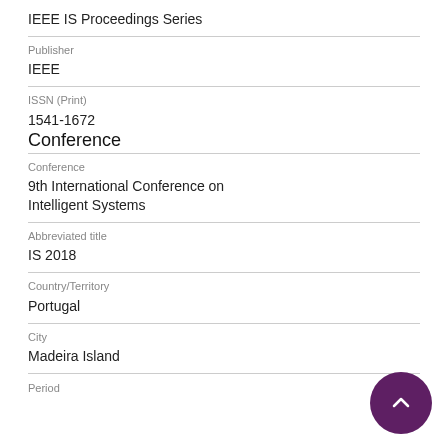IEEE IS Proceedings Series
Publisher
IEEE
ISSN (Print)
1541-1672
Conference
Conference
9th International Conference on Intelligent Systems
Abbreviated title
IS 2018
Country/Territory
Portugal
City
Madeira Island
Period